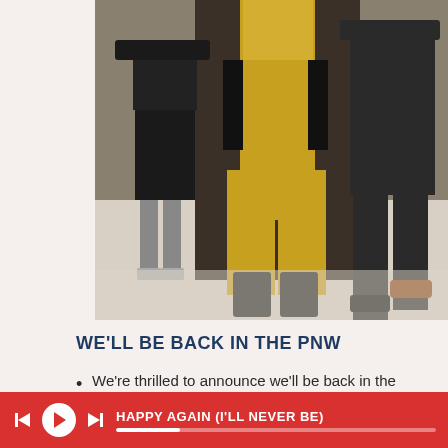[Figure (photo): Three people standing together: a woman in black on the left, a woman in a yellow/mustard wide-leg jumpsuit in the center, and a man in dark clothing on the right. They are photographed from approximately waist down in an indoor/outdoor setting.]
WE'LL BE BACK IN THE PNW
We're thrilled to announce we'll be back in the Pacific Northwest this June for an amazing week
HAPPY AGAIN (I'LL NEVER BE)